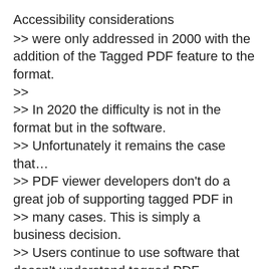Accessibility considerations
>> were only addressed in 2000 with the addition of the Tagged PDF feature to the format.
>>
>> In 2020 the difficulty is not in the format but in the software.
>> Unfortunately it remains the case that…
>> PDF viewer developers don't do a great job of supporting tagged PDF in
>> many cases. This is simply a business decision.
>> Users continue to use software that doesn't understand tagged PDF
>> instead of seeking out and demanding better.
>> Authors continue to author content without consideration for semantics
>> (e.g., use tab stops instead of table